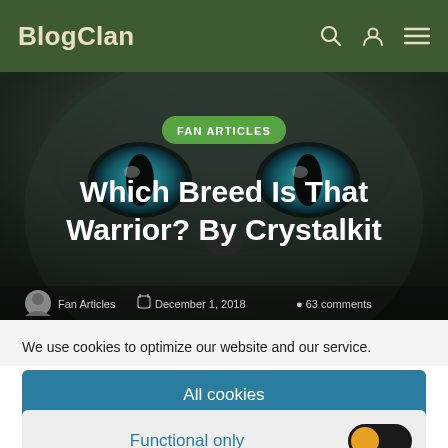BlogClan
[Figure (photo): Close-up photo of a cat's face with striking blue-green eyes, used as hero image background. Overlaid with green 'FAN ARTICLES' badge and white bold title text 'Which Breed Is That Warrior? By Crystalkit'. Below shows metadata: Fan Articles, December 1, 2018, 63 comments.]
We use cookies to optimize our website and our service.
All cookies
Functional only